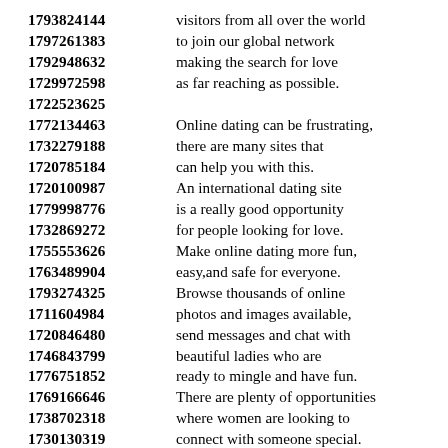1793824144 visitors from all over the world
1797261383 to join our global network
1792948632 making the search for love
1729972598 as far reaching as possible.
1722523625
1772134463 Online dating can be frustrating,
1732279188 there are many sites that
1720785184 can help you with this.
1720100987 An international dating site
1779998776 is a really good opportunity
1732869272 for people looking for love.
1755553626 Make online dating more fun,
1763489904 easy,and safe for everyone.
1793274325 Browse thousands of online
1711604984 photos and images available,
1720846480 send messages and chat with
1746843799 beautiful ladies who are
1776751852 ready to mingle and have fun.
1769166646 There are plenty of opportunities
1738702318 where women are looking to
1730130319 connect with someone special.
1749261279 Find out how to start the
1773823954 dating with the help of a
1714933127 couple of marriage proposals.
1748905240 The dating landscape looks.